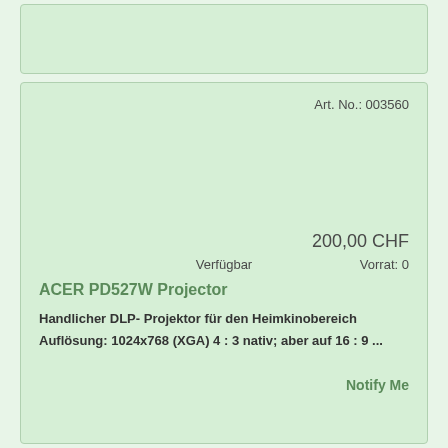Art. No.: 003560
200,00 CHF
Verfügbar
Vorrat: 0
ACER PD527W Projector
Handlicher DLP- Projektor für den Heimkinobereich
Auflösung: 1024x768 (XGA) 4 : 3 nativ; aber auf 16 : 9 ...
Notify Me